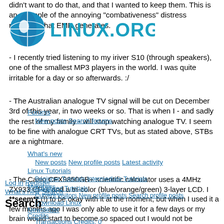didn't want to do that, and that I wanted to keep them. This is an example of the annoying "combativeness" distress response that EMR generates.
[Figure (logo): Linux.org logo with globe icon and text LINUX.ORG in teal/cyan color]
- I recently tried listening to my iriver S10 (through speakers), one of the smallest MP3 players in the world. I was quite irritable for a day or so afterwards. :/
Forums
New posts  Search forums
- The Australian analogue TV signal will be cut on December 3rd of this year, in two weeks or so. That is when I - and sadly the rest of my family - will stop watching analogue TV. I seem to be fine with analogue CRT TVs, but as stated above, STBs are a nightmare.
What's new
New posts  New profile posts  Latest activity
Linux Tutorials
Beginner Tutorials  Intermediate Tutorials  Advanced Tutorials
Members
- The Casio CFX9850GB+ scientific calculator uses a 4MHz ZX933 CPU, and a tri-color (blue/orange/green) 3-layer LCD. I **seem** (!) to be okay with it at the moment, but when I used it a few months ago I was only able to use it for a few days or my brain would start to become so spaced out I would not be capable of really engaging in anything. I remember going on a bus ride home after having used it for a while and feeling like if I was going to talk, I'd say something inappropriate - not "bad attitude" inappropriate, but self-conscious/"out of place" inappropriate. I've since learned that the front of the brain controls speech and the appropriateness of our conversation, based on context; ie, it's on overdrive at formal functions, but reasonably relaxed around
Current visitors  New profile posts  Search profile posts
Download Linux
Newsletter
Credits
Transactions Credits: 0
Log in  Register
What's new  Search
Search